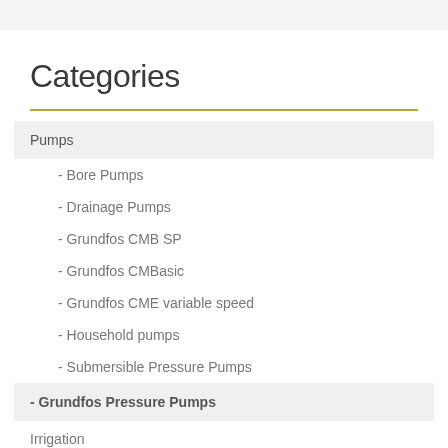Categories
Pumps
- Bore Pumps
- Drainage Pumps
- Grundfos CMB SP
- Grundfos CMBasic
- Grundfos CME variable speed
- Household pumps
- Submersible Pressure Pumps
- Grundfos Pressure Pumps
Irrigation